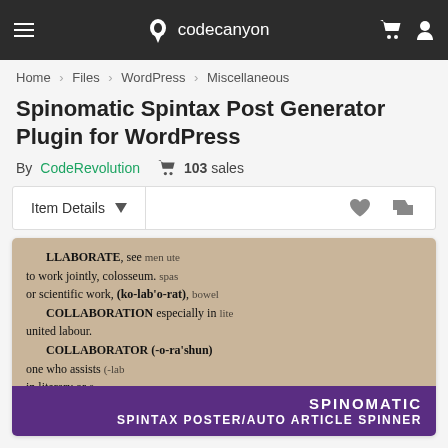codecanyon navigation bar
Home > Files > WordPress > Miscellaneous
Spinomatic Spintax Post Generator Plugin for WordPress
By CodeRevolution  103 sales
Item Details
[Figure (screenshot): Dictionary photo showing definitions of COLLABORATE, COLLABORATION, COLLABORATOR, COLLAPSE with purple banner overlay reading SPINOMATIC SPINTAX POSTER/AUTO ARTICLE SPINNER]